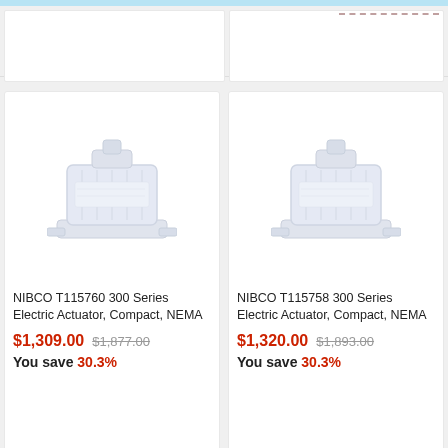[Figure (photo): NIBCO T115760 300 Series Electric Actuator compact product image (light blue/grey device on white background)]
NIBCO T115760 300 Series Electric Actuator, Compact, NEMA
$1,309.00  $1,877.00
You save 30.3%
[Figure (photo): NIBCO T115758 300 Series Electric Actuator compact product image (light blue/grey device on white background)]
NIBCO T115758 300 Series Electric Actuator, Compact, NEMA
$1,320.00  $1,893.00
You save 30.3%